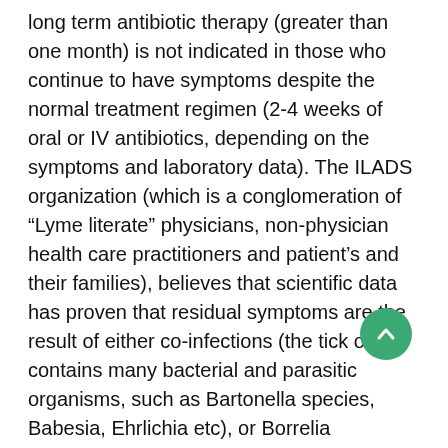long term antibiotic therapy (greater than one month) is not indicated in those who continue to have symptoms despite the normal treatment regimen (2-4 weeks of oral or IV antibiotics, depending on the symptoms and laboratory data). The ILADS organization (which is a conglomeration of “Lyme literate” physicians, non-physician health care practitioners and patient’s and their families), believes that scientific data has proven that residual symptoms are the result of either co-infections (the tick often contains many bacterial and parasitic organisms, such as Bartonella species, Babesia, Ehrlichia etc), or Borrelia Burgdorferi infections that are intracellular, and therefore not detectible using routine testing. Furthermore, standard Lyme disease testing (a Western Blot) is believed to highly insensitive, by ILADS, giving rise to many false negatives.